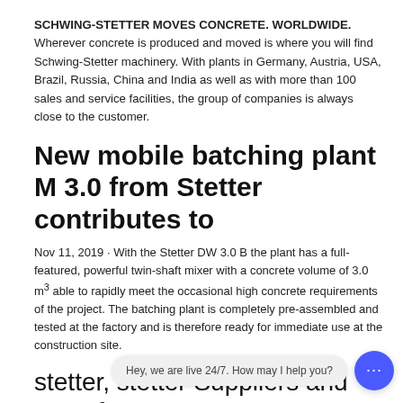SCHWING-STETTER MOVES CONCRETE. WORLDWIDE. Wherever concrete is produced and moved is where you will find Schwing-Stetter machinery. With plants in Germany, Austria, USA, Brazil, Russia, China and India as well as with more than 100 sales and service facilities, the group of companies is always close to the customer.
New mobile batching plant M 3.0 from Stetter contributes to
Nov 11, 2019 · With the Stetter DW 3.0 B the plant has a full-featured, powerful twin-shaft mixer with a concrete volume of 3.0 m³ able to rapidly meet the occasional high concrete requirements of the project. The batching plant is completely pre-assembled and tested at the factory and is therefore ready for immediate use at the construction site.
stetter, stetter Suppliers and Manufacturers at .com
25m3h concrete batching plant schwing stetter spare parts price in malaysia, US 000-000 ... Ready mix rmc concrete